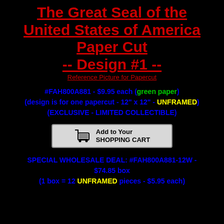The Great Seal of the United States of America Paper Cut -- Design #1 -- Reference Picture for Papercut
#FAH800A881 - $9.95 each (green paper)
(design is for one papercut - 12" x 12" - UNFRAMED)
(EXCLUSIVE - LIMITED COLLECTIBLE)
[Figure (other): Add to Your SHOPPING CART button with shopping cart icon]
SPECIAL WHOLESALE DEAL: #FAH800A881-12W - $74.85 box
(1 box = 12 UNFRAMED pieces - $5.95 each)